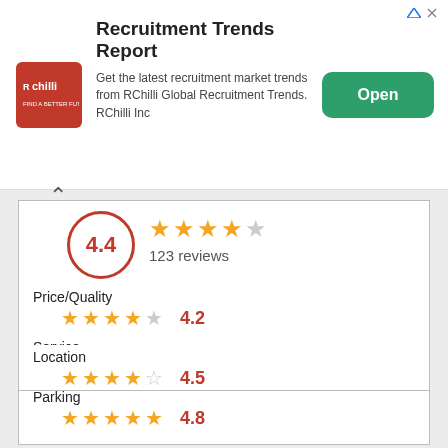[Figure (screenshot): Advertisement banner for RChilli Recruitment Trends Report with logo, description text, and Open button]
4.4
123 reviews
Price/Quality
4.2
Service
4.4
Parking
4.8
Location
4.5
Establishment
4
HOW TO GET
TO CALL
Address: C. de Valverde, 44, 28004 Madrid, Spain
Schedule: Closed · Opens 11 AM Tue